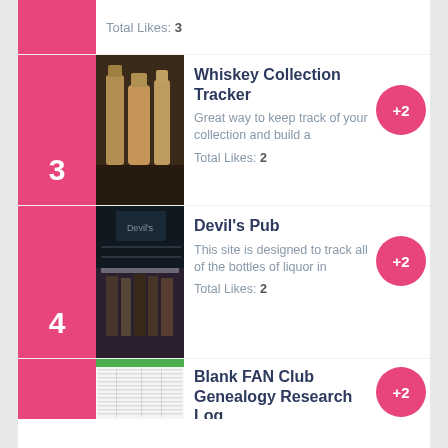Total Likes: 3
[Figure (photo): Whiskey bottles on a bar]
Whiskey Collection Tracker
Great way to keep track of your collection and build a
Total Likes: 2
[Figure (photo): Interior of Devil's Pub bar]
Devil's Pub
This site is designed to track all of the bottles of liquor in
Total Likes: 2
Blank FAN Club Genealogy Research Log
[Figure (screenshot): Spreadsheet screenshot for Blank FAN Club Genealogy Research Log]